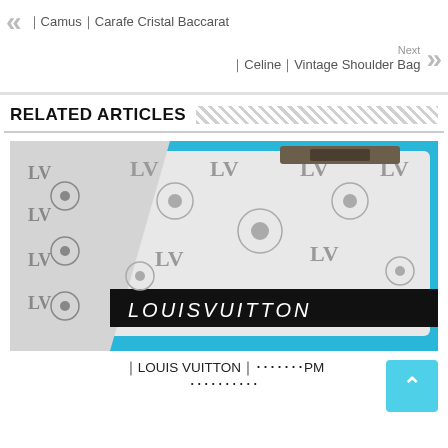«Camus|Carafe Cristal Baccarat
Next
|Celine|Vintage Shoulder Bag »
RELATED ARTICLES
[Figure (photo): Close-up photo of a white Louis Vuitton monogram bag with LV pattern and a black stripe with LOUISVUITTON text, on a blue background.]
｜LOUIS VUITTON｜xxxxxxx PM
xxxxxxxxxx